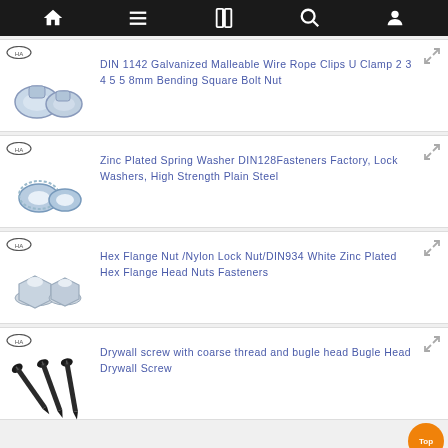Navigation bar with home, menu, book, search, and user icons
DIN 1142 Galvanized Malleable Wire Rope Clips U Clamp 2 3 4 5 5 8mm Bending Square Bolt Nut
Zinc Plated Spring Washer DIN128Fasteners Factory, Lock Washers, High Strength Plain Steel
Hex Flange Nut /Nylon Lock Nut/DIN934 White Zinc Plated Hex Flange Head Nuts Fasteners
Drywall screw with coarse thread and bugle head Bugle Head Drywall Screw